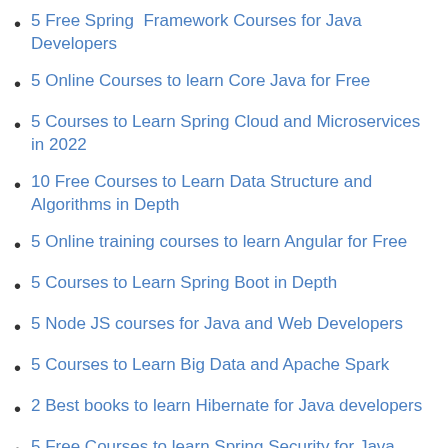5 Free Spring  Framework Courses for Java Developers
5 Online Courses to learn Core Java for Free
5 Courses to Learn Spring Cloud and Microservices in 2022
10 Free Courses to Learn Data Structure and Algorithms in Depth
5 Online training courses to learn Angular for Free
5 Courses to Learn Spring Boot in Depth
5 Node JS courses for Java and Web Developers
5 Courses to Learn Big Data and Apache Spark
2 Best books to learn Hibernate for Java developers
5 Free Courses to learn Spring Security for Java developers
6 Courses to Learn Spring Framework in Depth